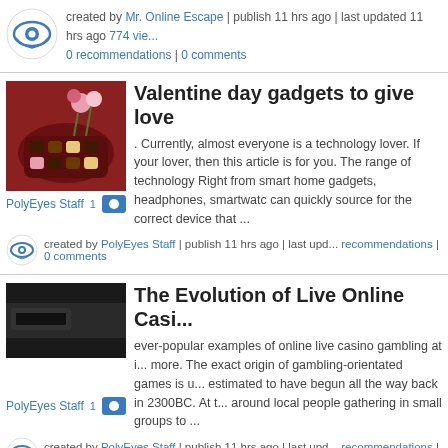created by Mr. Online Escape | publish 11 hrs ago | last updated 11 hrs ago 774 views
0 recommendations | 0 comments
Valentine day gadgets to give love
. Currently, almost everyone is a technology lover. If your lover, then this article is for you. The range of technology Right from smart home gadgets, headphones, smartwatc can quickly source for the correct device that ...
created by PolyEyes Staff | publish 11 hrs ago | last updated recommendations | 0 comments
The Evolution of Live Online Casino
ever-popular examples of online live casino gambling at i more. The exact origin of gambling-orientated games is u estimated to have begun all the way back in 2300BC. At t around local people gathering in small groups to ...
created by PolyEyes Staff | publish 11 hrs ago | last updated recommendations | 0 comments
Great Payment Solutions for Online